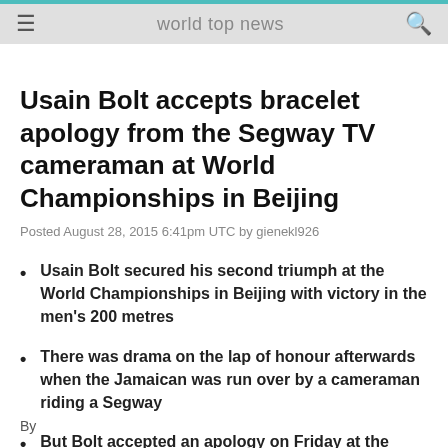world top news
Usain Bolt accepts bracelet apology from the Segway TV cameraman at World Championships in Beijing
Posted August 28, 2015 6:41pm UTC by gienekl926
Usain Bolt secured his second triumph at the World Championships in Beijing with victory in the men's 200 metres
There was drama on the lap of honour afterwards when the Jamaican was run over by a cameraman riding a Segway
But Bolt accepted an apology on Friday at the Bird's Nest
By